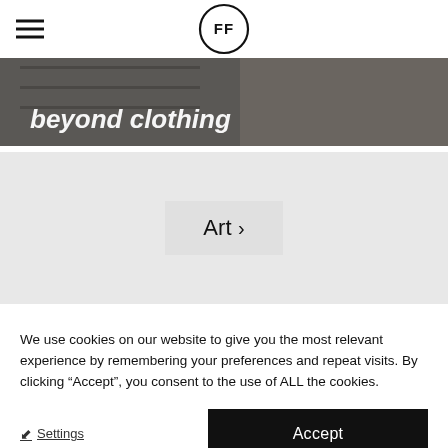[Figure (logo): FF logo — two letters F inside a circle, hamburger menu icon on the left]
[Figure (photo): Hero banner image showing 'beyond clothing' text overlaid on a photo of a clothing store/rack scene]
[Figure (screenshot): Light grey content section with an 'Art >' button centered]
We use cookies on our website to give you the most relevant experience by remembering your preferences and repeat visits. By clicking “Accept”, you consent to the use of ALL the cookies.
Settings
Accept